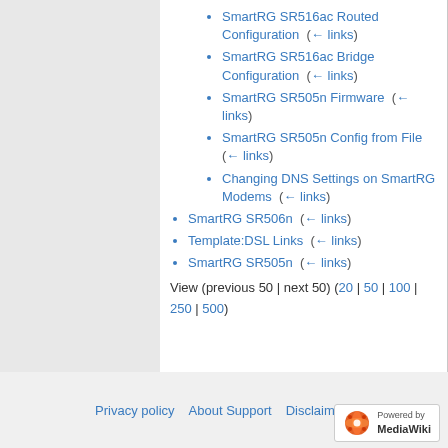SmartRG SR516ac Routed Configuration  (← links)
SmartRG SR516ac Bridge Configuration  (← links)
SmartRG SR505n Firmware  (← links)
SmartRG SR505n Config from File  (← links)
Changing DNS Settings on SmartRG Modems  (← links)
SmartRG SR506n  (← links)
Template:DSL Links  (← links)
SmartRG SR505n  (← links)
View (previous 50 | next 50) (20 | 50 | 100 | 250 | 500)
Privacy policy   About Support   Disclaimers